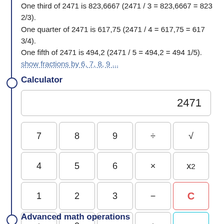One third of 2471 is 823,6667 (2471 / 3 = 823,6667 = 823 2/3). One quarter of 2471 is 617,75 (2471 / 4 = 617,75 = 617 3/4). One fifth of 2471 is 494,2 (2471 / 5 = 494,2 = 494 1/5).
show fractions by 6, 7, 8, 9 ...
Calculator
[Figure (other): Calculator widget showing display with 2471, and a 5x4 grid of buttons: 7, 8, 9, ÷, √, 4, 5, 6, ×, x², 1, 2, 3, −, C, ±, 0, ., +, =]
Advanced math operations